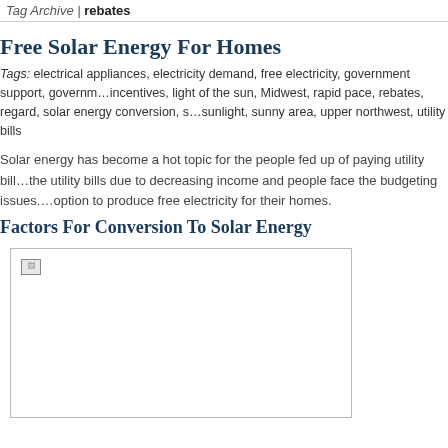Tag Archive | rebates
Free Solar Energy For Homes
Tags: electrical appliances, electricity demand, free electricity, government support, government incentives, light of the sun, Midwest, rapid pace, rebates, regard, solar energy conversion, sunlight, sunny area, upper northwest, utility bills
Solar energy has become a hot topic for the people fed up of paying utility bills the utility bills due to decreasing income and people face the budgeting issues. option to produce free electricity for their homes.
Factors For Conversion To Solar Energy
[Figure (photo): Image placeholder (broken image icon) inside a bordered box]